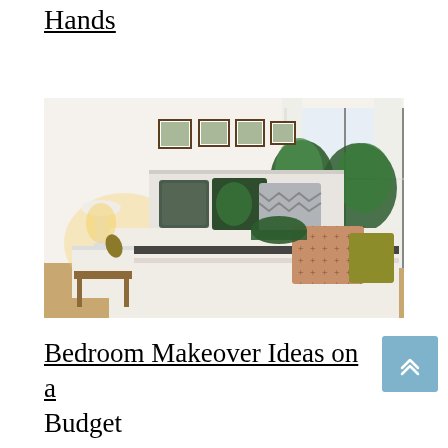Hands
[Figure (photo): A styled bedroom with white walls, a bed with decorative pillows including tropical leaf print and chevron patterns, framed art on the wall, large indoor plants, a window with white curtains, and a nightstand with a lamp.]
Bedroom Makeover Ideas on a Budget